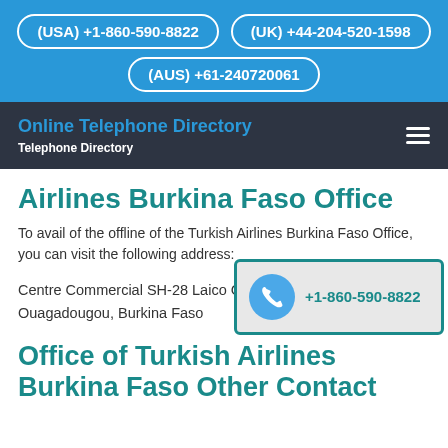(USA) +1-860-590-8822  (UK) +44-204-520-1598  (AUS) +61-240720061
Online Telephone Directory
Telephone Directory
Airlines Burkina Faso Office
To avail of the offline of the Turkish Airlines Burkina Faso Office, you can visit the following address:
Centre Commercial SH-28 Laico C...
Ouagadougou, Burkina Faso
[Figure (infographic): Call widget showing phone icon and number +1-860-590-8822]
Office of Turkish Airlines Burkina Faso Other Contact